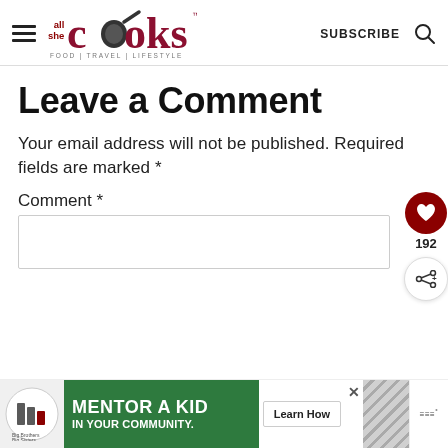[Figure (logo): All She Cooks logo with hamburger menu, SUBSCRIBE text, and search icon in header]
Leave a Comment
Your email address will not be published. Required fields are marked *
Comment *
[Figure (infographic): Floating side bar with heart icon showing 192 likes and share button]
[Figure (infographic): Big Brothers Big Sisters advertisement banner: MENTOR A KID IN YOUR COMMUNITY. Learn How]